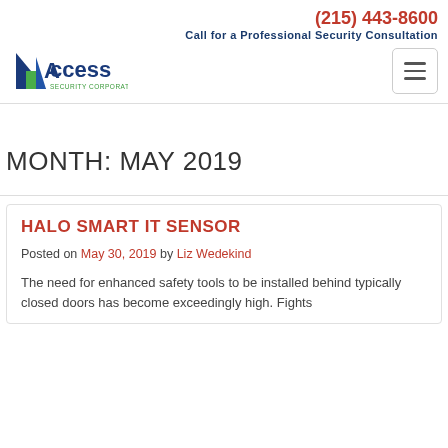(215) 443-8600
Call for a Professional Security Consultation
[Figure (logo): Access Security Corporation logo with blue triangle/arrow and green accent]
MONTH: MAY 2019
HALO SMART IT SENSOR
Posted on May 30, 2019 by Liz Wedekind
The need for enhanced safety tools to be installed behind typically closed doors has become exceedingly high. Fights